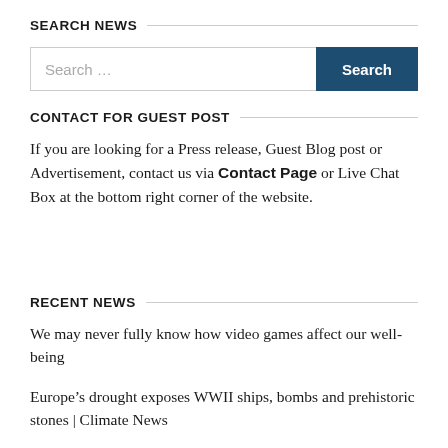SEARCH NEWS
[Figure (other): Search input box with placeholder 'Search ...' and a dark blue 'Search' button]
CONTACT FOR GUEST POST
If you are looking for a Press release, Guest Blog post or Advertisement, contact us via Contact Page or Live Chat Box at the bottom right corner of the website.
RECENT NEWS
We may never fully know how video games affect our well-being
Europe's drought exposes WWII ships, bombs and prehistoric stones | Climate News